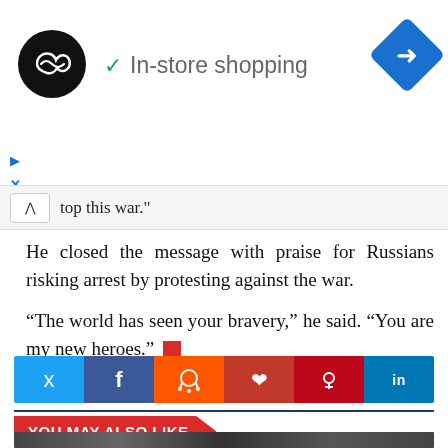[Figure (screenshot): Google Maps style ad banner with black circle logo with infinity-like symbol, green checkmark and 'In-store shopping' text, blue diamond navigation icon on far right, small play and close icons below left]
top this war."
He closed the message with praise for Russians risking arrest by protesting against the war.
“The world has seen your bravery,” he said. “You are my new heroes.”
[Figure (screenshot): Social sharing bar with Twitter (light blue), Facebook (dark blue), Reddit (orange), Pocket (dark red), Pinterest (red), LinkedIn (blue) buttons]
YOU MAY ALSO LIKE
[Figure (photo): Bottom portion of an image showing people at what appears to be a protest or public gathering, partially cut off]